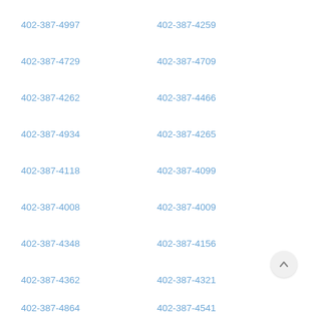402-387-4997
402-387-4259
402-387-4729
402-387-4709
402-387-4262
402-387-4466
402-387-4934
402-387-4265
402-387-4118
402-387-4099
402-387-4008
402-387-4009
402-387-4348
402-387-4156
402-387-4362
402-387-4321
402-387-4864
402-387-4541